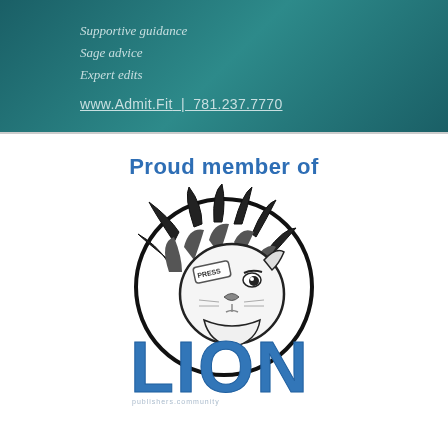[Figure (infographic): Dark teal banner with italic text listing services: 'Supportive guidance', 'Sage advice', 'Expert edits', and contact info 'www.Admit.Fit | 781.237.7770']
Proud member of
[Figure (logo): LION Publishers logo — a black and white lion head illustration with 'PRESS' badge, above bold blue text reading 'LION']